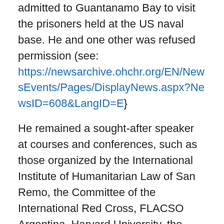admitted to Guantanamo Bay to visit the prisoners held at the US naval base. He and one other was refused permission (see: https://newsarchive.ohchr.org/EN/NewsEvents/Pages/DisplayNews.aspx?NewsID=608&LangID=E}
He remained a sought-after speaker at courses and conferences, such as those organized by the International Institute of Humanitarian Law of San Remo, the Committee of the International Red Cross, FLACSO Argentina ,Harvard University, the European Society of International Law, and the Université de la Sorbonne Nouvelle.
In 1993 he becomes the Assistant Special Representative of the Secretary Generals of the United Nations and Organization of American States, in the context of the UN